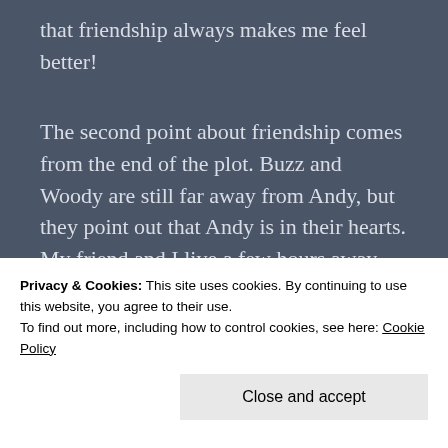that friendship always makes me feel better!
The second point about friendship comes from the end of the plot. Buzz and Woody are still far away from Andy, but they point out that Andy is in their hearts. My friend and I live a few hours away from each other, but we still have that close connection that we had when we were in college together!
Privacy & Cookies: This site uses cookies. By continuing to use this website, you agree to their use.
To find out more, including how to control cookies, see here: Cookie Policy
Close and accept
Donald, and Goofy meet Elsa who has run away to